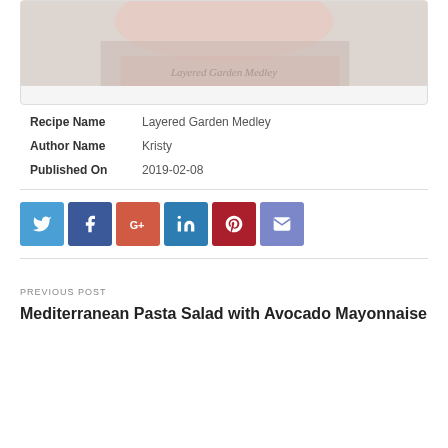[Figure (photo): Partial view of a food/recipe photo showing a layered garden medley dish with pink and cream tones]
| Recipe Name | Layered Garden Medley |
| Author Name | Kristy |
| Published On | 2019-02-08 |
[Figure (infographic): Row of 6 social sharing buttons: Twitter (blue bird), Facebook (blue f), Google+ (red G+), LinkedIn (teal in), Pinterest (dark red p), Email (purple envelope)]
PREVIOUS POST
Mediterranean Pasta Salad with Avocado Mayonnaise